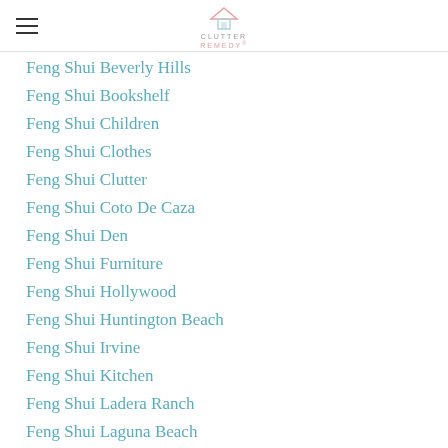Clutter Remedy
Feng Shui Beverly Hills
Feng Shui Bookshelf
Feng Shui Children
Feng Shui Clothes
Feng Shui Clutter
Feng Shui Coto De Caza
Feng Shui Den
Feng Shui Furniture
Feng Shui Hollywood
Feng Shui Huntington Beach
Feng Shui Irvine
Feng Shui Kitchen
Feng Shui Ladera Ranch
Feng Shui Laguna Beach
Feng Shui Laguna Niguel
Feng Shui Living Room
Feng Shui Manhatten Beach
Feng Shui Newport Beach